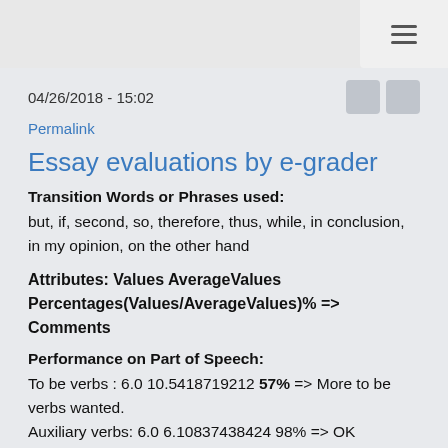04/26/2018 - 15:02
Permalink
Essay evaluations by e-grader
Transition Words or Phrases used:
but, if, second, so, therefore, thus, while, in conclusion, in my opinion, on the other hand
Attributes: Values AverageValues Percentages(Values/AverageValues)% => Comments
Performance on Part of Speech:
To be verbs : 6.0 10.5418719212 57% => More to be verbs wanted.
Auxiliary verbs: 6.0 6.10837438424 98% => OK